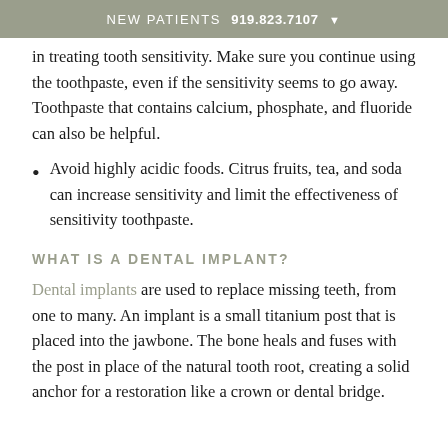NEW PATIENTS 919.823.7107
in treating tooth sensitivity. Make sure you continue using the toothpaste, even if the sensitivity seems to go away. Toothpaste that contains calcium, phosphate, and fluoride can also be helpful.
Avoid highly acidic foods. Citrus fruits, tea, and soda can increase sensitivity and limit the effectiveness of sensitivity toothpaste.
WHAT IS A DENTAL IMPLANT?
Dental implants are used to replace missing teeth, from one to many. An implant is a small titanium post that is placed into the jawbone. The bone heals and fuses with the post in place of the natural tooth root, creating a solid anchor for a restoration like a crown or dental bridge.